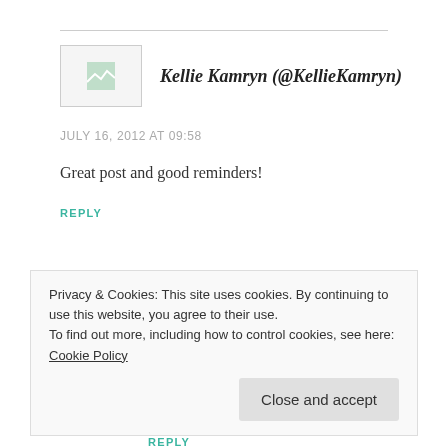Kellie Kamryn (@KellieKamryn)
JULY 16, 2012 AT 09:58
Great post and good reminders!
REPLY
unspywriter
Privacy & Cookies: This site uses cookies. By continuing to use this website, you agree to their use.
To find out more, including how to control cookies, see here: Cookie Policy
Close and accept
REPLY